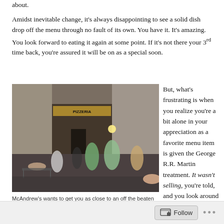about.
Amidst inevitable change, it's always disappointing to see a solid dish drop off the menu through no fault of its own. You have it. It's amazing. You look forward to eating it again at some point. If it's not there your 3rd time back, you're assured it will be on as a special soon.
[Figure (photo): Outdoor street scene at an Italian pizzeria/trattoria. People dining at outdoor tables and standing on a cobblestone street. A lit storefront with a Pizzeria sign is visible. The setting appears to be Rome, Italy.]
McAndrew's wants to get you as close to an off the beaten track trattoria as possible Courtesy of Monsu.
But, what's frustrating is when you realize you're a bit alone in your appreciation as a favorite menu item is given the George R.R. Martin treatment. It wasn't selling, you're told, and you look around almost wanting to
Follow